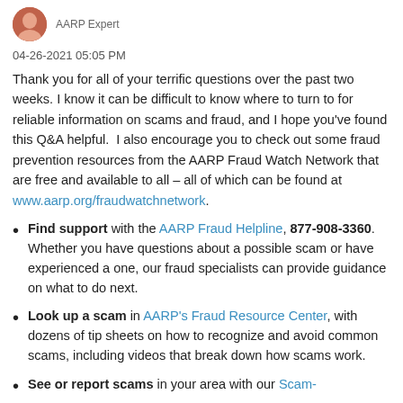04-26-2021 05:05 PM
Thank you for all of your terrific questions over the past two weeks. I know it can be difficult to know where to turn to for reliable information on scams and fraud, and I hope you've found this Q&A helpful.  I also encourage you to check out some fraud prevention resources from the AARP Fraud Watch Network that are free and available to all – all of which can be found at www.aarp.org/fraudwatchnetwork.
Find support with the AARP Fraud Helpline, 877-908-3360.  Whether you have questions about a possible scam or have experienced a one, our fraud specialists can provide guidance on what to do next.
Look up a scam in AARP's Fraud Resource Center, with dozens of tip sheets on how to recognize and avoid common scams, including videos that break down how scams work.
See or report scams in your area with our Scam-